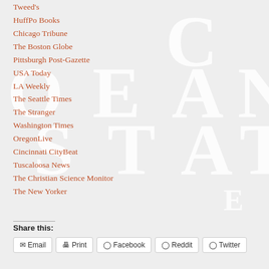Tweed's
HuffPo Books
Chicago Tribune
The Boston Globe
Pittsburgh Post-Gazette
USA Today
LA Weekly
The Seattle Times
The Stranger
Washington Times
OregonLive
Cincinnati CityBeat
Tuscaloosa News
The Christian Science Monitor
The New Yorker
Share this:
Email | Print | Facebook | Reddit | Twitter